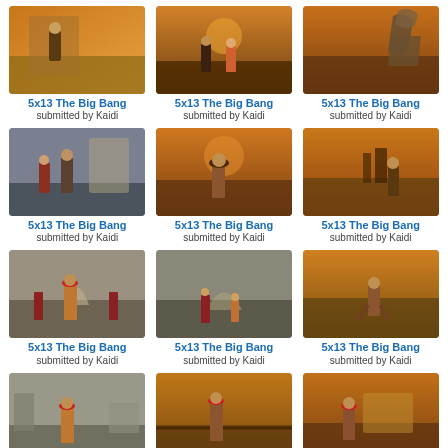[Figure (photo): TV still from Doctor Who 5x13 The Big Bang - figure on rooftop with warm golden sky]
5x13 The Big Bang
submitted by Kaidi
[Figure (photo): TV still from Doctor Who 5x13 The Big Bang - two figures on rooftop at dusk]
5x13 The Big Bang
submitted by Kaidi
[Figure (photo): TV still from Doctor Who 5x13 The Big Bang - stone gargoyle figure against orange sky]
5x13 The Big Bang
submitted by Kaidi
[Figure (photo): TV still from Doctor Who 5x13 The Big Bang - two characters standing together]
5x13 The Big Bang
submitted by Kaidi
[Figure (photo): TV still from Doctor Who 5x13 The Big Bang - The Doctor in bowler hat against sunset]
5x13 The Big Bang
submitted by Kaidi
[Figure (photo): TV still from Doctor Who 5x13 The Big Bang - The Doctor standing on rooftop at sunset]
5x13 The Big Bang
submitted by Kaidi
[Figure (photo): TV still from Doctor Who 5x13 The Big Bang - The Doctor with fez on rooftop with two figures behind]
5x13 The Big Bang
submitted by Kaidi
[Figure (photo): TV still from Doctor Who 5x13 The Big Bang - characters on rooftop terrace]
5x13 The Big Bang
submitted by Kaidi
[Figure (photo): TV still from Doctor Who 5x13 The Big Bang - figure running on rooftop in warm light]
5x13 The Big Bang
submitted by Kaidi
[Figure (photo): TV still from Doctor Who 5x13 The Big Bang - The Doctor with fez standing in street]
5x13 The Big Bang
submitted by Kaidi
[Figure (photo): TV still from Doctor Who 5x13 The Big Bang - The Doctor with fez from behind in alley]
5x13 The Big Bang
submitted by Kaidi
[Figure (photo): TV still from Doctor Who 5x13 The Big Bang - The Doctor with fez walking through scene]
5x13 The Big Bang
submitted by Kaidi
[Figure (photo): TV still from Doctor Who 5x13 The Big Bang - Dalek silhouette in dark corridor]
[Figure (photo): TV still from Doctor Who 5x13 The Big Bang - Dalek silhouette in blue lit scene]
[Figure (photo): TV still from Doctor Who 5x13 The Big Bang - dark scene with dim lighting]